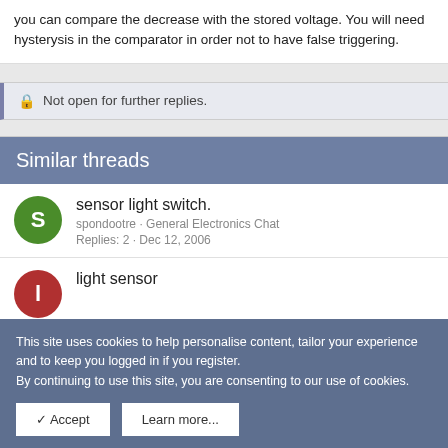you can compare the decrease with the stored voltage. You will need hysterysis in the comparator in order not to have false triggering.
Not open for further replies.
Similar threads
sensor light switch.
spondootre · General Electronics Chat
Replies: 2 · Dec 12, 2006
light sensor
This site uses cookies to help personalise content, tailor your experience and to keep you logged in if you register.
By continuing to use this site, you are consenting to our use of cookies.